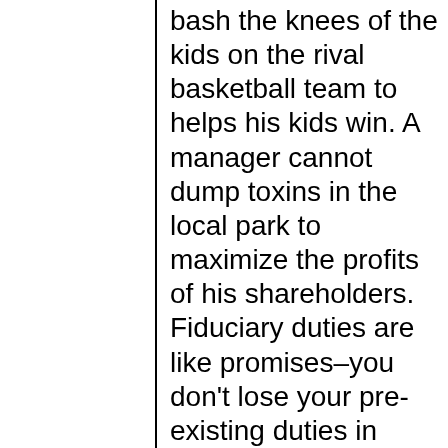bash the knees of the kids on the rival basketball team to helps his kids win. A manager cannot dump toxins in the local park to maximize the profits of his shareholders. Fiduciary duties are like promises–you don't lose your pre-existing duties in virtue of becoming a fiduciary.
Now, promises can change the moral status of optional actions. Acting in self-defense or in defense of others is often, if not always, optional. Thus, we might ask